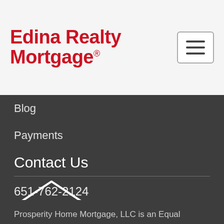Edina Realty Mortgage®
Blog
Payments
Contact Us
651-762-2124
2137 4th Street, White Bear Lake, MN 55110
[Figure (logo): Equal Housing Lender logo — house outline with equal sign, text EQUAL HOUSING LENDER below]
Prosperity Home Mortgage, LLC is an Equal Opportunity Employer and is committed to Diversity, Equity, and Inclusion in the